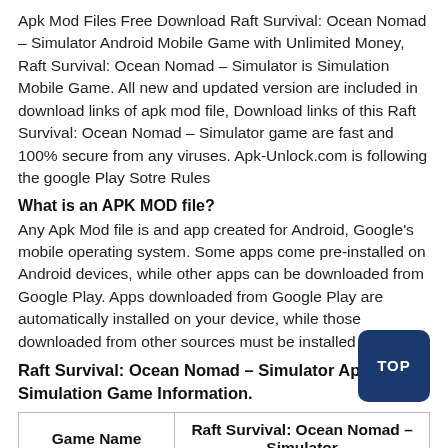Apk Mod Files Free Download Raft Survival: Ocean Nomad – Simulator Android Mobile Game with Unlimited Money, Raft Survival: Ocean Nomad – Simulator is Simulation Mobile Game. All new and updated version are included in download links of apk mod file, Download links of this Raft Survival: Ocean Nomad – Simulator game are fast and 100% secure from any viruses. Apk-Unlock.com is following the google Play Sotre Rules
What is an APK MOD file?
Any Apk Mod file is and app created for Android, Google's mobile operating system. Some apps come pre-installed on Android devices, while other apps can be downloaded from Google Play. Apps downloaded from Google Play are automatically installed on your device, while those downloaded from other sources must be installed manually.
Raft Survival: Ocean Nomad – Simulator Apk Mod Simulation Game Information.
| Game Name | Raft Survival: Ocean Nomad – Simulator |
| --- | --- |